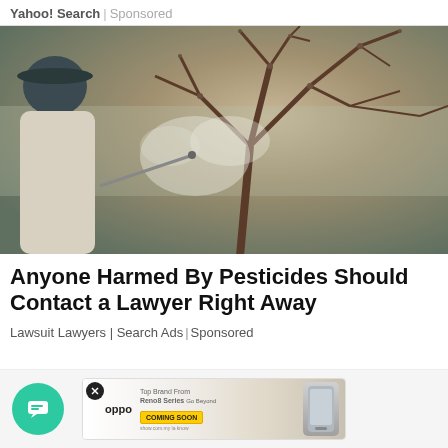Yahoo! Search | Sponsored
[Figure (photo): Person wearing a cap and white shirt spraying pesticide on bare tree branches, mist visible in the air]
Anyone Harmed By Pesticides Should Contact a Lawyer Right Away
Lawsuit Lawyers | Search Ads | Sponsored
[Figure (screenshot): Bottom bar with green chat button and Oppo Reno8 Series advertisement banner with Coming Soon label]